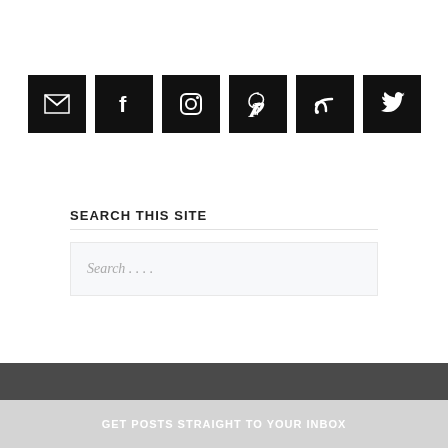[Figure (other): Row of six social media icon buttons (email, Facebook, Instagram, Pinterest, RSS, Twitter) as white icons on black square backgrounds]
SEARCH THIS SITE
Search . . . .
GET POSTS STRAIGHT TO YOUR INBOX